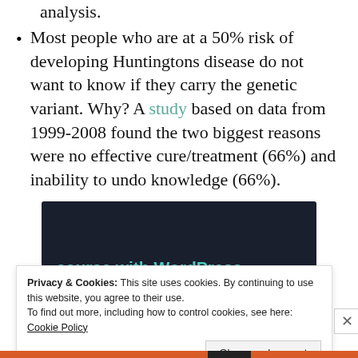analysis.
Most people who are at a 50% risk of developing Huntingtons disease do not want to know if they carry the genetic variant. Why? A study based on data from 1999-2008 found the two biggest reasons were no effective cure/treatment (66%) and inability to undo knowledge (66%).
[Figure (screenshot): Dark advertisement banner with teal text 'course with WordPress' and a teal 'Learn More' button.]
Privacy & Cookies: This site uses cookies. By continuing to use this website, you agree to their use. To find out more, including how to control cookies, see here: Cookie Policy
Close and accept